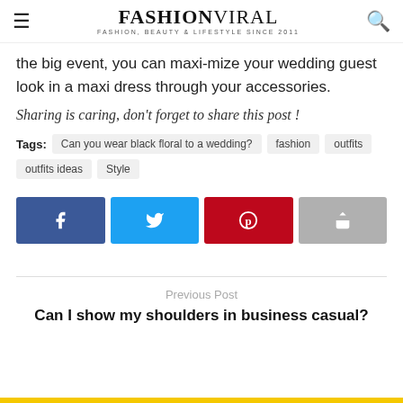FASHIONVIRAL — FASHION, BEAUTY & LIFESTYLE SINCE 2011
the big event, you can maxi-mize your wedding guest look in a maxi dress through your accessories.
Sharing is caring, don't forget to share this post !
Tags: Can you wear black floral to a wedding? fashion outfits outfits ideas Style
[Figure (infographic): Social share buttons: Facebook (blue), Twitter (light blue), Pinterest (red), Share (gray)]
Previous Post
Can I show my shoulders in business casual?